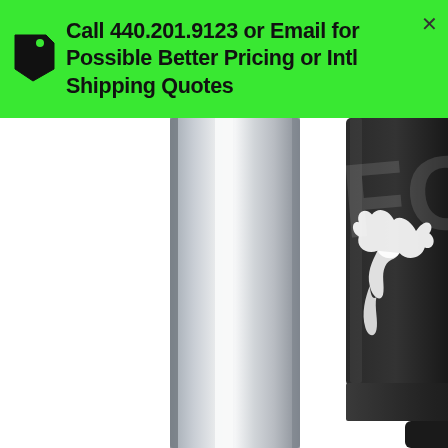[Figure (other): Green promotional banner with price tag icon and close button, showing text 'Call 440.201.9123 or Email for Possible Better Pricing or Intl Shipping Quotes']
Call 440.201.9123 or Email for Possible Better Pricing or Intl Shipping Quotes
[Figure (photo): Close-up product photo of Fox Factory Series shock/fork components: a silver chrome tube on the left and a black anodized Fox shock body on the right with white Fox logo (running fox silhouette) and 'Factory Series' text]